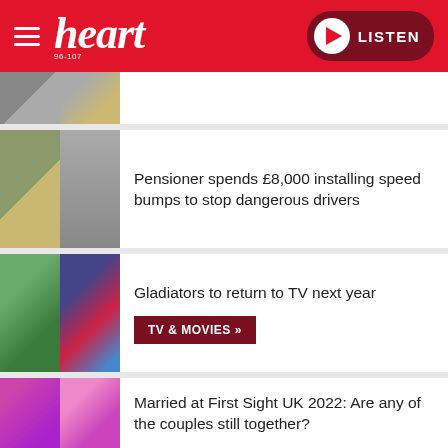heart 96-107 LISTEN
[Figure (photo): Partial news card image visible at top - road/street scene]
Pensioner spends £8,000 installing speed bumps to stop dangerous drivers
Gladiators to return to TV next year
TV & MOVIES »
Married at First Sight UK 2022: Are any of the couples still together?